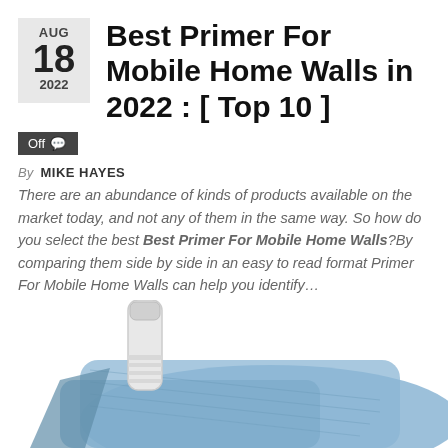Best Primer For Mobile Home Walls in 2022 : [ Top 10 ]
Off
By MIKE HAYES
There are an abundance of kinds of products available on the market today, and not any of them in the same way. So how do you select the best Best Primer For Mobile Home Walls?By comparing them side by side in an easy to read format Primer For Mobile Home Walls can help you identify…
[Figure (photo): A bottle/spray container and a blue microfiber cloth on a white background]